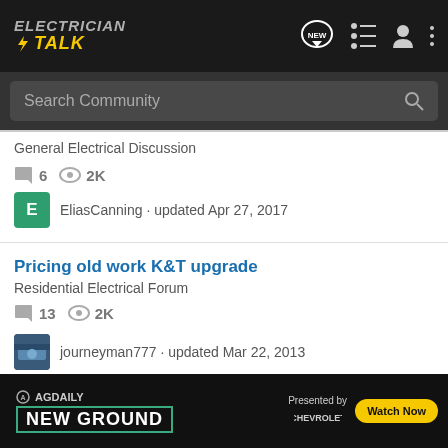Electrician Talk - header navigation with logo, NEW, list, user, and menu icons
Search Community
General Electrical Discussion
6 replies · 2K views
EliasCanning · updated Apr 27, 2017
Pricing old work K&T upgrade
Residential Electrical Forum
13 replies · 2K views
journeyman777 · updated Mar 22, 2013
CEC Price this
Canadian Electrical Forum
[Figure (screenshot): AG Daily New Ground Chevrolet advertisement banner at bottom of page]